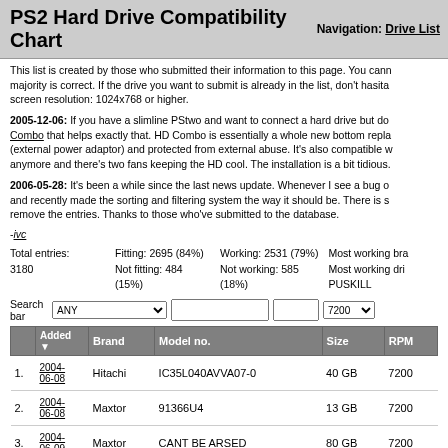PS2 Hard Drive Compatibility Chart
Navigation: Drive List
This list is created by those who submitted their information to this page. You cannot trust this list 100%, but the majority is correct. If the drive you want to submit is already in the list, don't hasitate to re-submit. Recommended screen resolution: 1024x768 or higher.
2005-12-06: If you have a slimline PStwo and want to connect a hard drive but do... HD Combo that helps exactly that. HD Combo is essentially a whole new bottom replacement (external power adaptor) and protected from external abuse. It's also compatible w... anymore and there's two fans keeping the HD cool. The installation is a bit tidious...
2006-05-28: It's been a while since the last news update. Whenever I see a bug o... and recently made the sorting and filtering system the way it should be. There is s... remove the entries. Thanks to those who've submitted to the database.
-ivc
Total entries: 3180    Fitting: 2695 (84%)    Not fitting: 484 (15%)    Working: 2531 (79%)    Not working: 585 (18%)    Most working brand...    Most working drive... PUSKILL
|  | Added | Brand | Model no. | Size | RPM |
| --- | --- | --- | --- | --- | --- |
| 1. | 2004-06-08 | Hitachi | IC35L040AVVA07-0 | 40 GB | 7200 |
| 2. | 2004-06-08 | Maxtor | 91366U4 | 13 GB | 7200 |
| 3. | 2004-06-09 | Maxtor | CANT BE ARSED | 80 GB | 7200 |
| 4. | 2004-06-09 | Hitachi | HDS722580VLAT2 | 80 GB | 7200 |